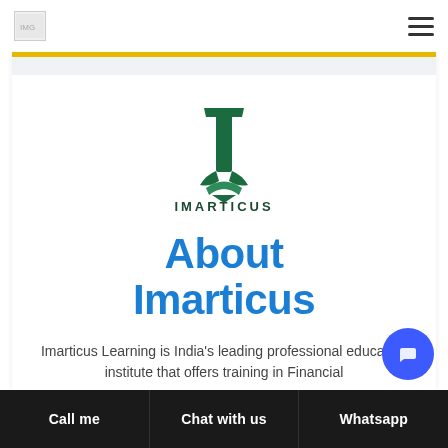[Figure (logo): Imarticus Learning logo with green stylized I mark and orange LEARNING text]
About Imarticus
Imarticus Learning is India's leading professional education institute that offers training in Financial
Call me | Chat with us | Whatsapp